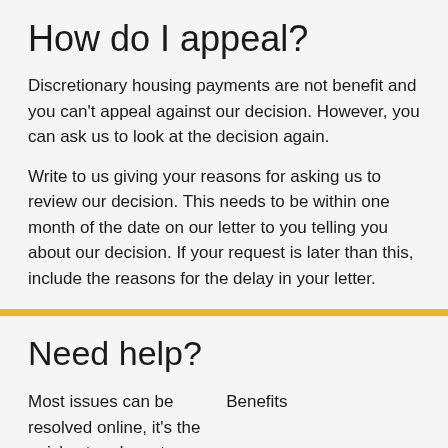How do I appeal?
Discretionary housing payments are not benefit and you can't appeal against our decision.  However, you can ask us to look at the decision again.
Write to us giving your reasons for asking us to review our decision.  This needs to be within one month of the date on our letter to you telling you about our decision.  If your request is later than this, include the reasons for the delay in your letter.
Need help?
Most issues can be resolved online, it's the quickest and most convenient way to get
Benefits

The most frequently asked information